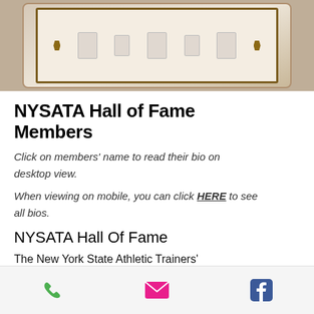[Figure (photo): Photo of NYSATA Hall of Fame display board with plaques and New York state logos on a wooden frame with warm lighting]
NYSATA Hall of Fame Members
Click on members' name to read their bio on desktop view.
When viewing on mobile, you can click HERE to see all bios.
NYSATA Hall Of Fame
The New York State Athletic Trainers' Hall of Fame is to honor those individuals who have worked or are working in the State of New York and have made significant contributions to
[Figure (other): Mobile navigation bar with phone, email, and Facebook icons]